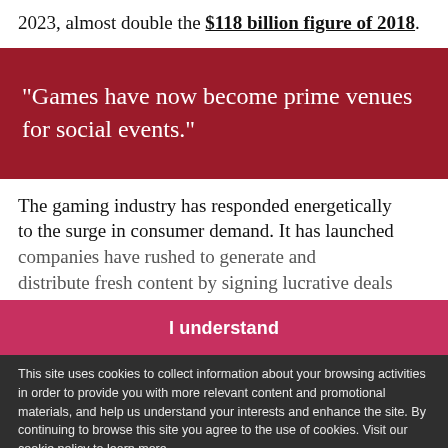2023, almost double the $118 billion figure of 2018.
“Games have now become prime venues for social events.”
The gaming industry has responded energetically to the surge in consumer demand. It has launched new games, new platforms and new services. Media companies have rushed to generate and distribute fresh content by signing lucrative deals with the biggest names in esports. The pandemic forced some professional players and
I understand
This site uses cookies to collect information about your browsing activities in order to provide you with more relevant content and promotional materials, and help us understand your interests and enhance the site. By continuing to browse this site you agree to the use of cookies. Visit our cookie policy to learn more.